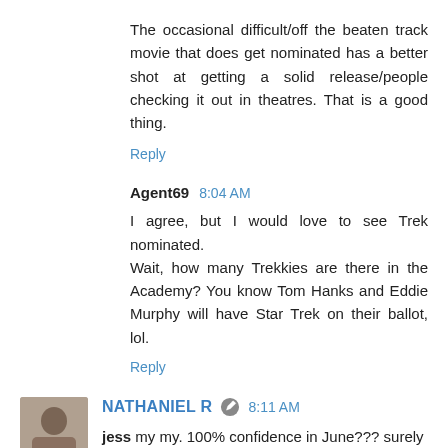The occasional difficult/off the beaten track movie that does get nominated has a better shot at getting a solid release/people checking it out in theatres. That is a good thing.
Reply
Agent69  8:04 AM
I agree, but I would love to see Trek nominated.
Wait, how many Trekkies are there in the Academy? You know Tom Hanks and Eddie Murphy will have Star Trek on their ballot, lol.
Reply
NATHANIEL R  8:11 AM
jess my my. 100% confidence in June??? surely you jest.
Reply